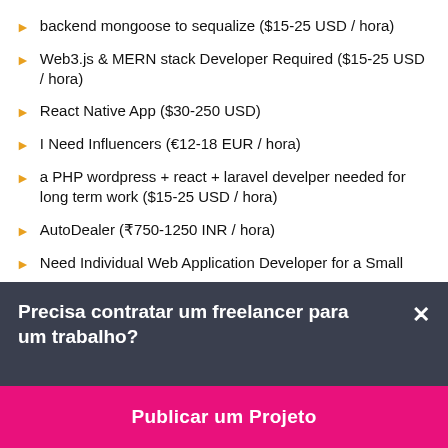backend mongoose to sequalize ($15-25 USD / hora)
Web3.js & MERN stack Developer Required ($15-25 USD / hora)
React Native App ($30-250 USD)
I Need Influencers (€12-18 EUR / hora)
a PHP wordpress + react + laravel develper needed for long term work ($15-25 USD / hora)
AutoDealer (₹750-1250 INR / hora)
Need Individual Web Application Developer for a Small
Precisa contratar um freelancer para um trabalho?
Publicar um Projeto